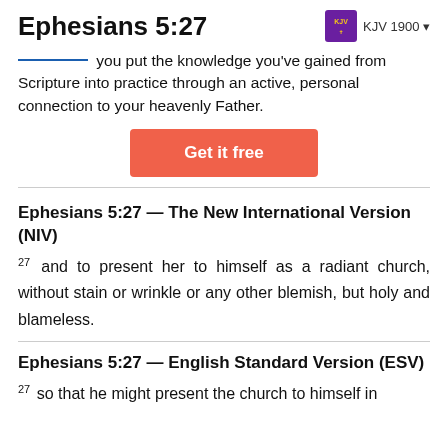Ephesians 5:27  KJV 1900
you put the knowledge you've gained from Scripture into practice through an active, personal connection to your heavenly Father.
[Figure (other): Get it free button (red/coral call-to-action button)]
Ephesians 5:27 — The New International Version (NIV)
27 and to present her to himself as a radiant church, without stain or wrinkle or any other blemish, but holy and blameless.
Ephesians 5:27 — English Standard Version (ESV)
27 so that he might present the church to himself in